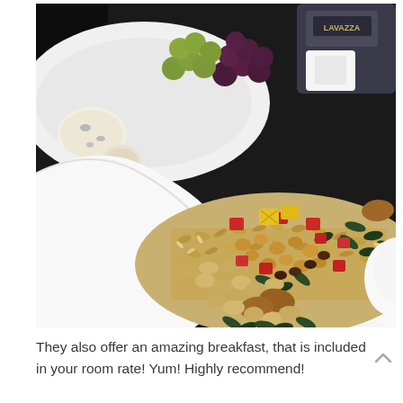[Figure (photo): Close-up photo of a breakfast bowl filled with muesli, mixed nuts (almonds, peanuts, pumpkin seeds), dried fruits (golden raisins, red and yellow candied fruit pieces), served in a white ceramic bowl. In the background, another white plate with cheese and grapes, and a Lavazza coffee cup/maker.]
They also offer an amazing breakfast, that is included in your room rate! Yum! Highly recommend!